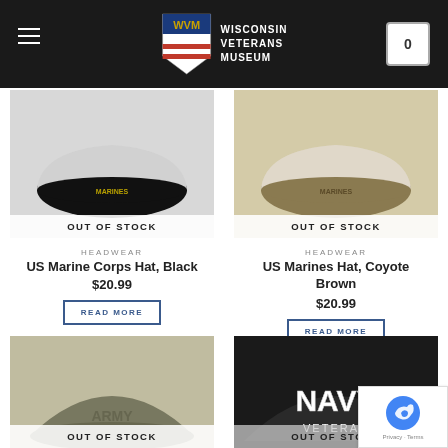[Figure (screenshot): Wisconsin Veterans Museum website header with logo, hamburger menu, and cart icon on dark background]
HEADWEAR
US Marine Corps Hat, Black
$20.99
READ MORE
HEADWEAR
US Marines Hat, Coyote Brown
$20.99
READ MORE
[Figure (photo): Olive green military cap with OUT OF STOCK overlay]
[Figure (photo): Black Navy veteran cap with OUT OF STOCK overlay]